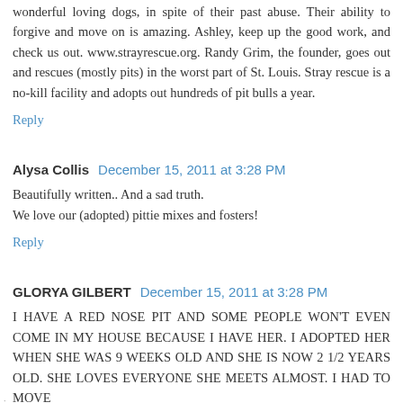wonderful loving dogs, in spite of their past abuse. Their ability to forgive and move on is amazing. Ashley, keep up the good work, and check us out. www.strayrescue.org. Randy Grim, the founder, goes out and rescues (mostly pits) in the worst part of St. Louis. Stray rescue is a no-kill facility and adopts out hundreds of pit bulls a year.
Reply
Alysa Collis  December 15, 2011 at 3:28 PM
Beautifully written.. And a sad truth.
We love our (adopted) pittie mixes and fosters!
Reply
GLORYA GILBERT  December 15, 2011 at 3:28 PM
I HAVE A RED NOSE PIT AND SOME PEOPLE WON'T EVEN COME IN MY HOUSE BECAUSE I HAVE HER. I ADOPTED HER WHEN SHE WAS 9 WEEKS OLD AND SHE IS NOW 2 1/2 YEARS OLD. SHE LOVES EVERYONE SHE MEETS ALMOST. I HAD TO MOVE